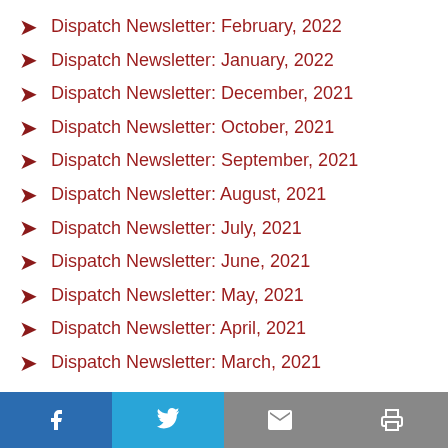Dispatch Newsletter: February, 2022
Dispatch Newsletter: January, 2022
Dispatch Newsletter: December, 2021
Dispatch Newsletter: October, 2021
Dispatch Newsletter: September, 2021
Dispatch Newsletter: August, 2021
Dispatch Newsletter: July, 2021
Dispatch Newsletter: June, 2021
Dispatch Newsletter: May, 2021
Dispatch Newsletter: April, 2021
Dispatch Newsletter: March, 2021
Facebook | Twitter | Email | Print